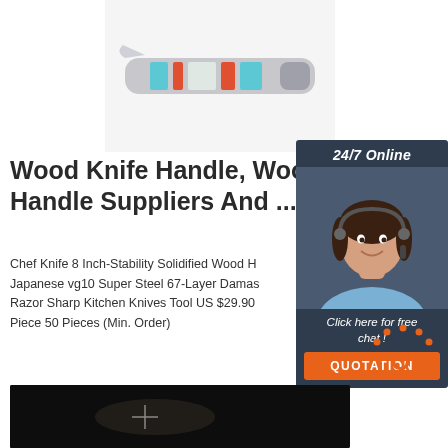[Figure (photo): A folding knife with colorful handle (turquoise, orange, red stripes) shown partially open at the top of the page.]
Wood Knife Handle, Wood K Handle Suppliers And ...
Chef Knife 8 Inch-Stability Solidified Wood H Japanese vg10 Super Steel 67-Layer Damas Razor Sharp Kitchen Knives Tool US $29.90 Piece 50 Pieces (Min. Order)
[Figure (photo): A woman wearing a headset smiling, shown as a customer support agent, with '24/7 Online' label and a dark background sidebar ad with 'Click here for free chat!' and an orange QUOTATION button.]
Get Price
[Figure (logo): Orange 'TOP' badge with dotted arch above the letters, indicating a top-of-page button.]
[Figure (photo): Dark background photo at the bottom showing a knife handle partially visible.]